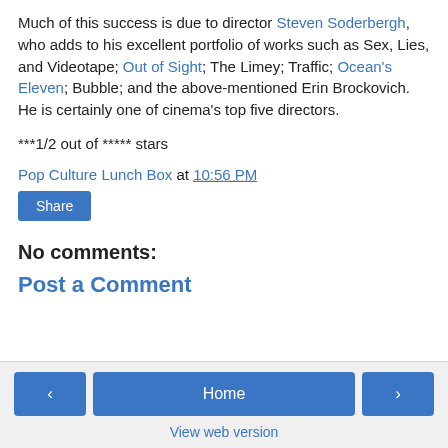Much of this success is due to director Steven Soderbergh, who adds to his excellent portfolio of works such as Sex, Lies, and Videotape; Out of Sight; The Limey; Traffic; Ocean's Eleven; Bubble; and the above-mentioned Erin Brockovich. He is certainly one of cinema's top five directors.
***1/2 out of ***** stars
Pop Culture Lunch Box at 10:56 PM
Share
No comments:
Post a Comment
‹  Home  ›  View web version